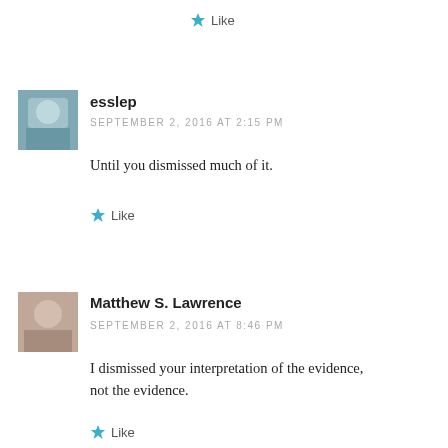★ Like
[Figure (photo): Avatar photo of user esslep]
esslep
SEPTEMBER 2, 2016 AT 2:15 PM
Until you dismissed much of it.
★ Like
[Figure (photo): Avatar photo of Matthew S. Lawrence]
Matthew S. Lawrence
SEPTEMBER 2, 2016 AT 8:46 PM
I dismissed your interpretation of the evidence, not the evidence.
★ Like